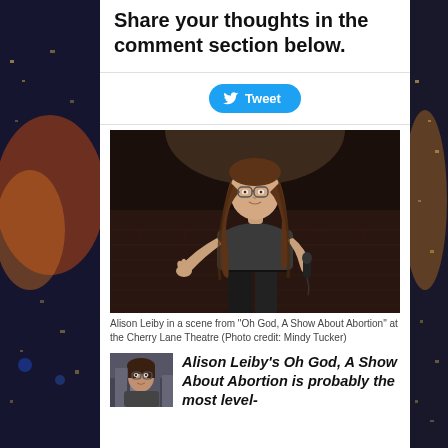Share your thoughts in the comment section below.
[Figure (other): Twitter Tweet button (blue rounded rectangle with bird icon)]
[Figure (photo): Alison Leiby performing stand-up comedy on a dark stage, holding a microphone, wearing glasses and a dark t-shirt with long brown hair]
Alison Leiby in a scene from "Oh God, A Show About Abortion" at the Cherry Lane Theatre (Photo credit: Mindy Tucker)
[Figure (photo): Thumbnail photo of a person (reviewer/author headshot)]
Alison Leiby's Oh God, A Show About Abortion is probably the most level-